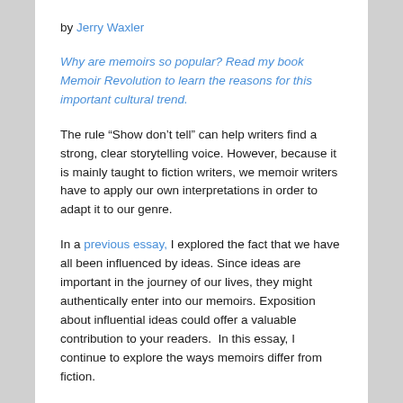by Jerry Waxler
Why are memoirs so popular? Read my book Memoir Revolution to learn the reasons for this important cultural trend.
The rule “Show don’t tell” can help writers find a strong, clear storytelling voice. However, because it is mainly taught to fiction writers, we memoir writers have to apply our own interpretations in order to adapt it to our genre.
In a previous essay, I explored the fact that we have all been influenced by ideas. Since ideas are important in the journey of our lives, they might authentically enter into our memoirs. Exposition about influential ideas could offer a valuable contribution to your readers.  In this essay, I continue to explore the ways memoirs differ from fiction.
I don’t mean to imply that good memoirs ignore the powerful methods of storytelling. On the contrary, a good memoir converts the bits of our real lives into the shape of